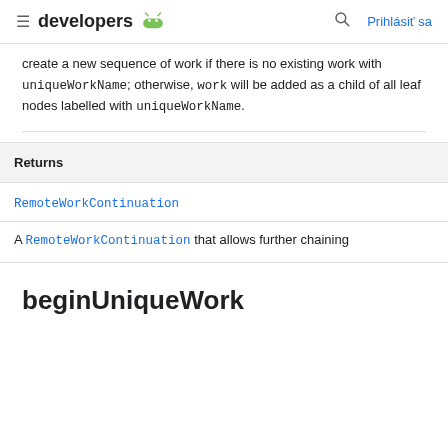developers | Prihlásiť sa
create a new sequence of work if there is no existing work with uniqueWorkName; otherwise, work will be added as a child of all leaf nodes labelled with uniqueWorkName.
| Returns |
| --- |
| RemoteWorkContinuation |
| A RemoteWorkContinuation that allows further chaining |
beginUniqueWork